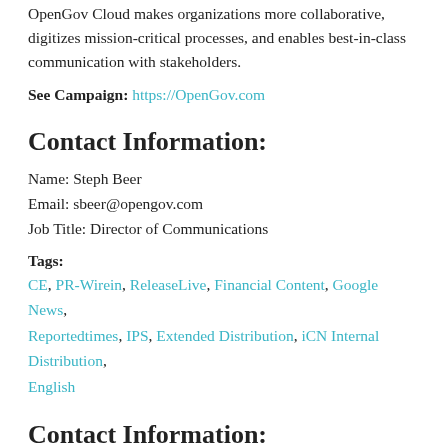OpenGov Cloud makes organizations more collaborative, digitizes mission-critical processes, and enables best-in-class communication with stakeholders.
See Campaign: https://OpenGov.com
Contact Information:
Name: Steph Beer
Email: sbeer@opengov.com
Job Title: Director of Communications
Tags:
CE, PR-Wirein, ReleaseLive, Financial Content, Google News, Reportedtimes, IPS, Extended Distribution, iCN Internal Distribution, English
Contact Information:
Name: Steph Beer
Email: sbeer@opengov.com